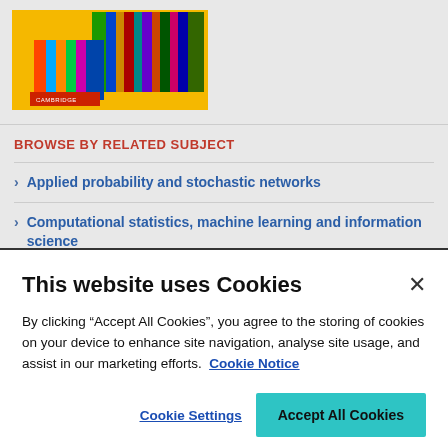[Figure (illustration): Book cover with yellow background, colorful matrix/heatmap-style graphics, and Cambridge University Press logo at bottom left]
BROWSE BY RELATED SUBJECT
Applied probability and stochastic networks
Computational statistics, machine learning and information science
This website uses Cookies
By clicking “Accept All Cookies”, you agree to the storing of cookies on your device to enhance site navigation, analyse site usage, and assist in our marketing efforts.  Cookie Notice
Cookie Settings
Accept All Cookies